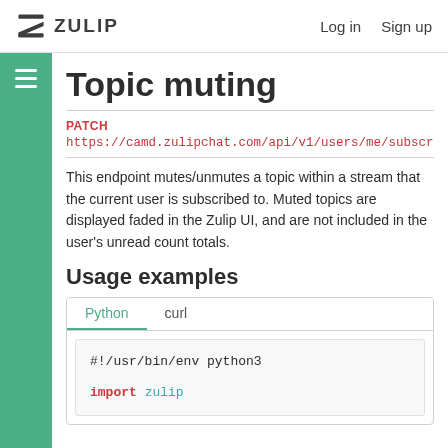ZULIP  Log in  Sign up
Topic muting
PATCH
https://camd.zulipchat.com/api/v1/users/me/subscr
This endpoint mutes/unmutes a topic within a stream that the current user is subscribed to. Muted topics are displayed faded in the Zulip UI, and are not included in the user's unread count totals.
Usage examples
Python  curl
#!/usr/bin/env python3

import zulip